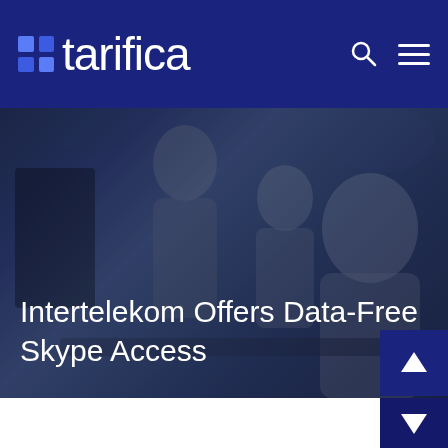tarifica
[Figure (photo): Dark-toned office photo showing three people collaborating at a computer, with a dark blue overlay. Title 'Intertelekom Offers Data-Free Skype Access' overlaid in white text.]
Intertelekom Offers Data-Free Skype Access